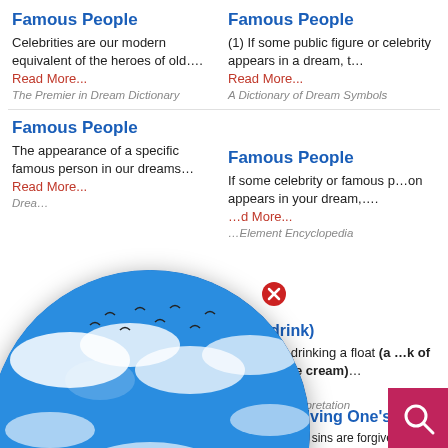Famous People
Celebrities are our modern equivalent of the heroes of old….
Read More...
The Premier in Dream Dictionary
Famous People
(1) If some public figure or celebrity appears in a dream, t…
Read More...
A Dictionary of Dream Symbols
Famous People
The appearance of a specific famous person in our dreams…
Read More...
Dream…
Famous People
If some celebrity or famous person appears in your dream,….
Read More...
Element Encyclopedia
…at (drink)
…ream of drinking a float (a …k of pop and ice cream)…
Read More...
… Dream Interpretation
Forgiving One's Sins
If one's sins are forgiven in a …important
[Figure (illustration): Dream Encyclopedia globe logo with clouds and birds, circular image with blue sky and clouds, 'Dream Encyclopedia' text overlay]